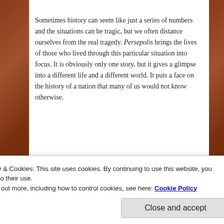Sometimes history can seem like just a series of numbers and the situations can be tragic, but we often distance ourselves from the real tragedy. Persepolis brings the lives of those who lived through this particular situation into focus. It is obviously only one story, but it gives a glimpse into a different life and a different world. It puts a face on the history of a nation that many of us would not know otherwise.
Advertisements
[Figure (other): Green advertisement banner with dotted pattern]
Privacy & Cookies: This site uses cookies. By continuing to use this website, you agree to their use.
To find out more, including how to control cookies, see here: Cookie Policy
Close and accept